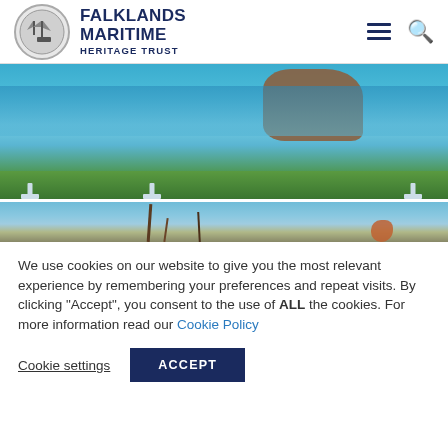Falklands Maritime Heritage Trust
[Figure (photo): Photo of a coastal cemetery scene with white crosses in foreground, blue water and rocky coastline in background, green grass at bottom]
[Figure (photo): Partial photo of a historic ship with masts and rigging, snow-capped mountains in background]
We use cookies on our website to give you the most relevant experience by remembering your preferences and repeat visits. By clicking “Accept”, you consent to the use of ALL the cookies. For more information read our Cookie Policy
Cookie settings | ACCEPT